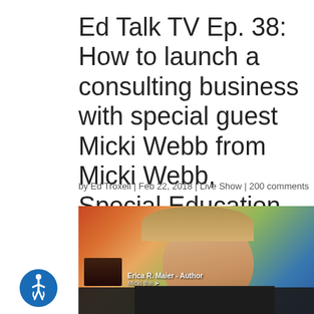Ed Talk TV Ep. 38: How to launch a consulting business with special guest Micki Webb from Micki Webb, Special Education Consultant
by Ed Troxell | Feb 22, 2018 | Live Show | 200 comments
[Figure (screenshot): Video thumbnail showing two people in a split-screen video call. Left: a man smiling with colorful artwork in background. Right: a woman with curly dark hair. A play button is overlaid in the center. An ET TV badge appears in the upper right. A share bar at the bottom reads 'Share This'. A small inset thumbnail and caption 'Erica R. Maier - Author' appear at the bottom.]